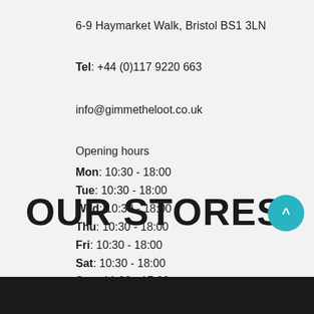6-9 Haymarket Walk, Bristol BS1 3LN
Tel: +44 (0)117 9220 663
info@gimmetheloot.co.uk
Opening hours
Mon: 10:30 - 18:00
Tue: 10:30 - 18:00
Wed: 10:30 - 18:00
Thu: 10:30 - 18:00
Fri: 10:30 - 18:00
Sat: 10:30 - 18:00
Sun: 11:00 - 17:00
OUR STORES